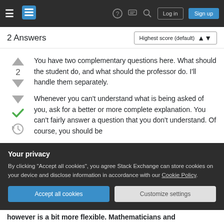Stack Exchange navigation bar with hamburger menu, logo, help, chat, search icons, Log in and Sign up buttons
2 Answers
You have two complementary questions here. What should the student do, and what should the professor do. I'll handle them separately.
Whenever you can't understand what is being asked of you, ask for a better or more complete explanation. You can't fairly answer a question that you don't understand. Of course, you should be
Your privacy
By clicking "Accept all cookies", you agree Stack Exchange can store cookies on your device and disclose information in accordance with our Cookie Policy.
however is a bit more flexible. Mathematicians and